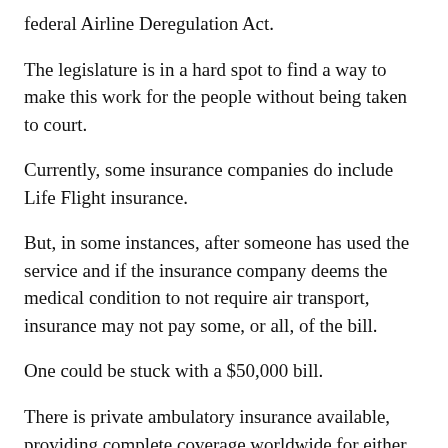federal Airline Deregulation Act.
The legislature is in a hard spot to find a way to make this work for the people without being taken to court.
Currently, some insurance companies do include Life Flight insurance.
But, in some instances, after someone has used the service and if the insurance company deems the medical condition to not require air transport, insurance may not pay some, or all, of the bill.
One could be stuck with a $50,000 bill.
There is private ambulatory insurance available, providing complete coverage worldwide for either fixed wing, helicopter and ground ambulance transportation for both family and single coverage. Those over 50 years of age can get lifetime coverage. On top of complete coverage, it provides vehicle return or return transportation and escort